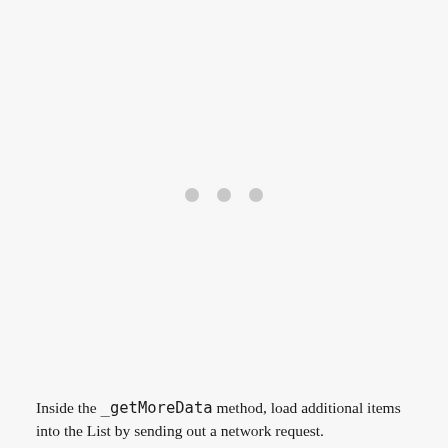[Figure (other): Large whitespace area with three gray dots (loading indicator) centered in the upper portion of the page]
Inside the _getMoreData method, load additional items into the List by sending out a network request.